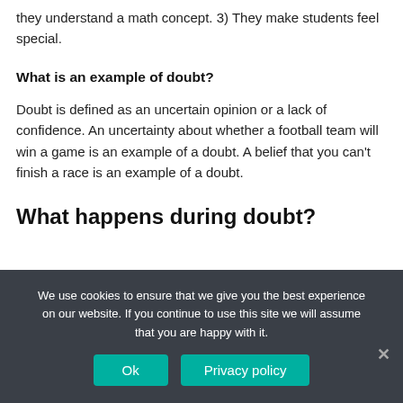they understand a math concept. 3) They make students feel special.
What is an example of doubt?
Doubt is defined as an uncertain opinion or a lack of confidence. An uncertainty about whether a football team will win a game is an example of a doubt. A belief that you can't finish a race is an example of a doubt.
What happens during doubt?
We use cookies to ensure that we give you the best experience on our website. If you continue to use this site we will assume that you are happy with it.